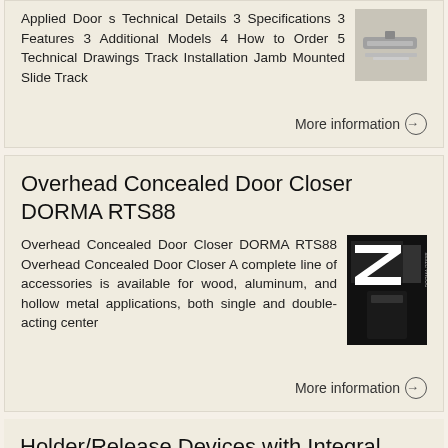Applied Door s Technical Details 3 Specifications 3 Features 3 Additional Models 4 How to Order 5 Technical Drawings Track Installation Jamb Mounted Slide Track
More information →
Overhead Concealed Door Closer DORMA RTS88
Overhead Concealed Door Closer DORMA RTS88 Overhead Concealed Door Closer A complete line of accessories is available for wood, aluminum, and hollow metal applications, both single and double-acting center
More information →
Holder/Release Devices with Integral Door Closers DORMA EMF/ EMR